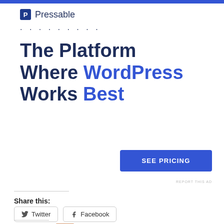[Figure (logo): Blue horizontal bar at top of page]
[Figure (logo): Pressable logo: blue square icon with 'P' letter and 'Pressable' text]
· · · · · · · · ·
The Platform Where WordPress Works Best
[Figure (other): SEE PRICING blue button]
REPORT THIS AD
Share this:
[Figure (other): Twitter share button]
[Figure (other): Facebook share button]
[Figure (other): Like button with star icon and blogger avatar]
One blogger likes this.